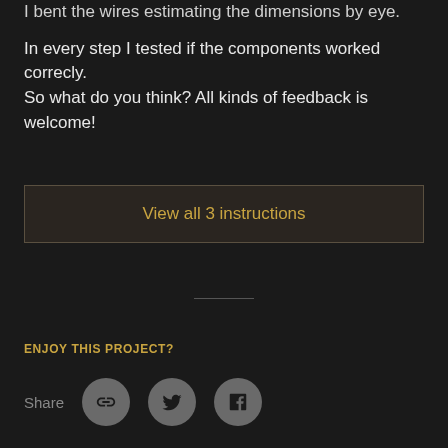I bent the wires estimating the dimensions by eye.
In every step I tested if the components worked correcly.
So what do you think? All kinds of feedback is welcome!
View all 3 instructions
ENJOY THIS PROJECT?
Share